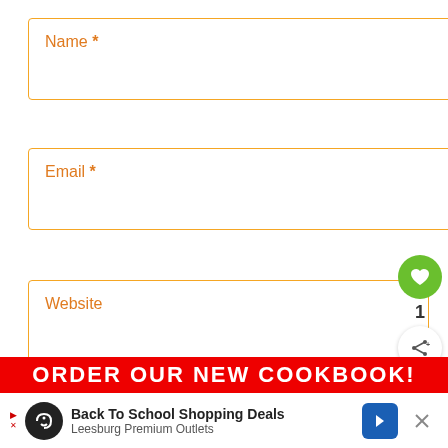Name *
Email *
Website
POST COMMENT
[Figure (infographic): Green circle button with heart icon and count of 1, plus a share icon button below]
[Figure (infographic): WHAT'S NEXT arrow label with thumbnail image and text: Air Fryer Green Beans]
ORDER OUR NEW COOKBOOK!
Back To School Shopping Deals
Leesburg Premium Outlets